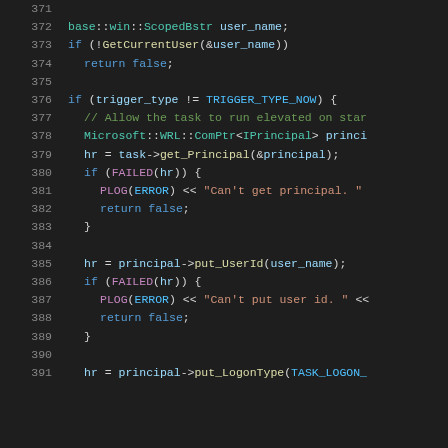[Figure (screenshot): C++ source code editor view showing lines 371-391 with syntax highlighting. Dark background IDE theme. Code involves Windows task scheduler API calls.]